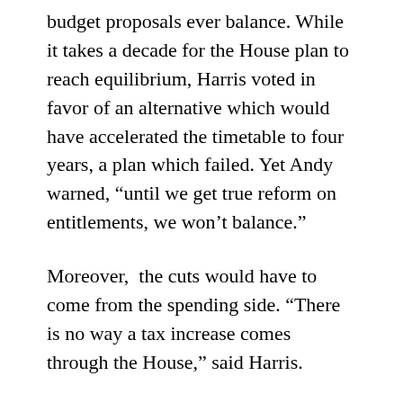budget proposals ever balance. While it takes a decade for the House plan to reach equilibrium, Harris voted in favor of an alternative which would have accelerated the timetable to four years, a plan which failed. Yet Andy warned, “until we get true reform on entitlements, we won’t balance.”
Moreover,  the cuts would have to come from the spending side. “There is no way a tax increase comes through the House,” said Harris.
Andy also touched on a number of other subjects during his unscheduled remarks, alluding to what should be revealed as an